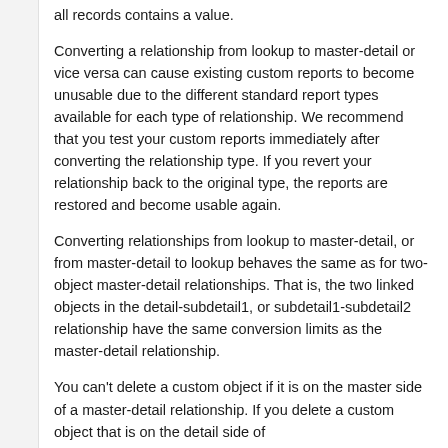all records contains a value.
Converting a relationship from lookup to master-detail or vice versa can cause existing custom reports to become unusable due to the different standard report types available for each type of relationship. We recommend that you test your custom reports immediately after converting the relationship type. If you revert your relationship back to the original type, the reports are restored and become usable again.
Converting relationships from lookup to master-detail, or from master-detail to lookup behaves the same as for two-object master-detail relationships. That is, the two linked objects in the detail-subdetail1, or subdetail1-subdetail2 relationship have the same conversion limits as the master-detail relationship.
You can't delete a custom object if it is on the master side of a master-detail relationship. If you delete a custom object that is on the detail side of